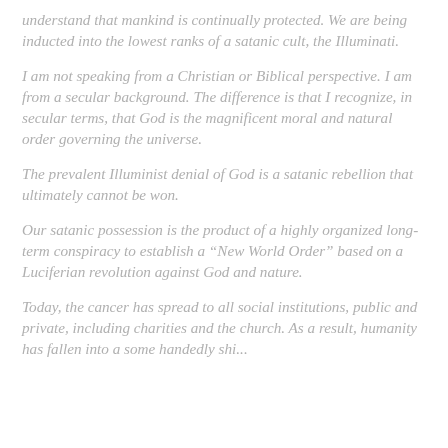understand that mankind is continually protected. We are being inducted into the lowest ranks of a satanic cult, the Illuminati.
I am not speaking from a Christian or Biblical perspective. I am from a secular background. The difference is that I recognize, in secular terms, that God is the magnificent moral and natural order governing the universe.
The prevalent Illuminist denial of God is a satanic rebellion that ultimately cannot be won.
Our satanic possession is the product of a highly organized long-term conspiracy to establish a “New World Order” based on a Luciferian revolution against God and nature.
Today, the cancer has spread to all social institutions, public and private, including charities and the church. As a result, humanity has fallen into a some handedly shi...